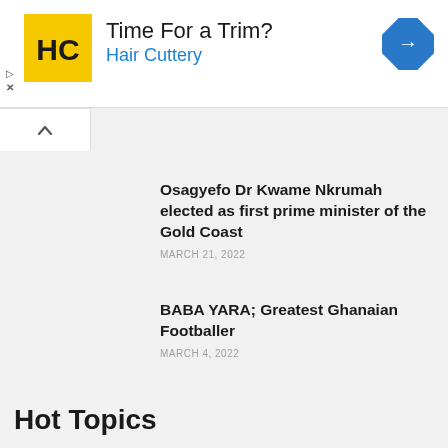[Figure (other): Hair Cuttery advertisement banner with yellow HC logo, headline 'Time For a Trim?' and subtext 'Hair Cuttery' in blue, with a blue diamond navigation arrow on the right]
Osagyefo Dr Kwame Nkrumah elected as first prime minister of the Gold Coast
MARCH 21, 2022
BABA YARA; Greatest Ghanaian Footballer
MARCH 4, 2022
Hot Topics